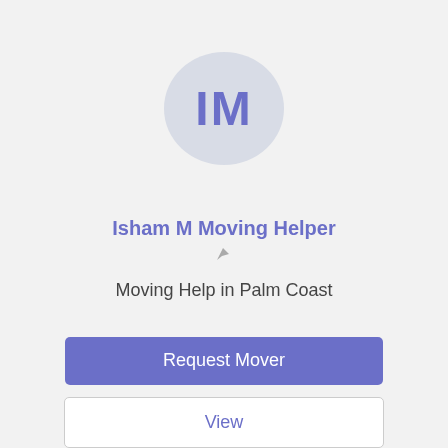[Figure (illustration): Circular avatar with light blue-gray background and purple initials 'IM']
Isham M Moving Helper
[Figure (other): Small navigation/location arrow icon in gray]
Moving Help in Palm Coast
Request Mover
View